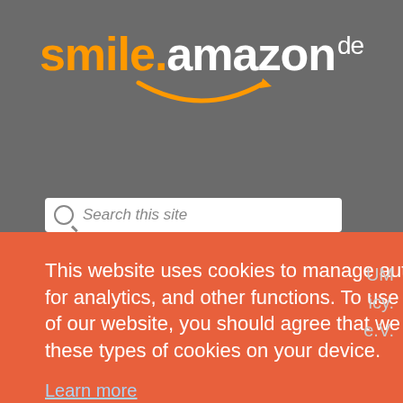[Figure (logo): smile.amazon.de logo with orange/yellow 'smile.' text, white 'amazon' text, white '.de' superscript, and an orange smile arrow beneath]
[Figure (screenshot): Search bar with magnifying glass icon and 'Search this site' placeholder text]
This website uses cookies to manage authentication, for analytics, and other functions. To use all features of our website, you should agree that we can place these types of cookies on your device.
Learn more
I agree